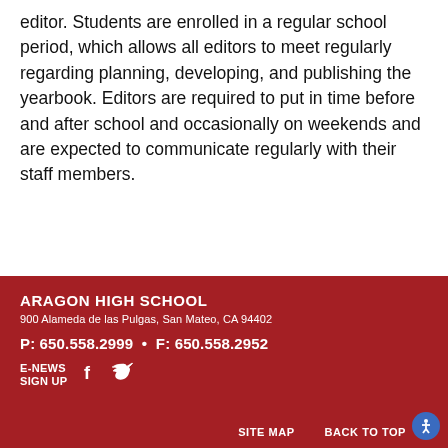editor. Students are enrolled in a regular school period, which allows all editors to meet regularly regarding planning, developing, and publishing the yearbook. Editors are required to put in time before and after school and occasionally on weekends and are expected to communicate regularly with their staff members.
ARAGON HIGH SCHOOL
900 Alameda de las Pulgas, San Mateo, CA 94402
P: 650.558.2999  •  F: 650.558.2952
E-NEWS SIGN UP
SITE MAP  BACK TO TOP